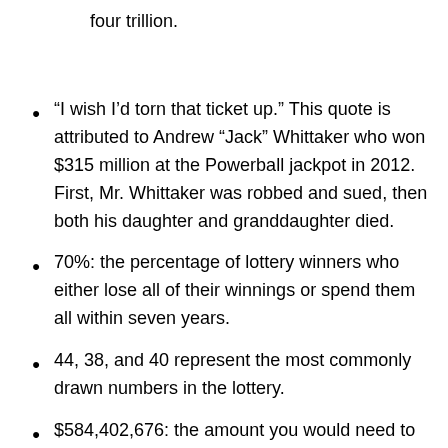four trillion.
“I wish I’d torn that ticket up.” This quote is attributed to Andrew “Jack” Whittaker who won $315 million at the Powerball jackpot in 2012. First, Mr. Whittaker was robbed and sued, then both his daughter and granddaughter died.
70%: the percentage of lottery winners who either lose all of their winnings or spend them all within seven years.
44, 38, and 40 represent the most commonly drawn numbers in the lottery.
$584,402,676: the amount you would need to spend